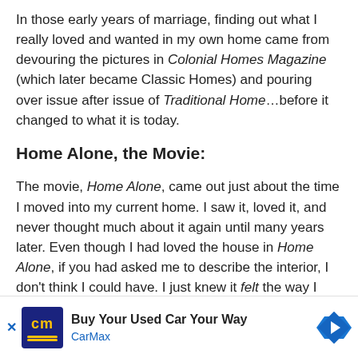In those early years of marriage, finding out what I really loved and wanted in my own home came from devouring the pictures in Colonial Homes Magazine (which later became Classic Homes) and pouring over issue after issue of Traditional Home…before it changed to what it is today.
Home Alone, the Movie:
The movie, Home Alone, came out just about the time I moved into my current home. I saw it, loved it, and never thought much about it again until many years later. Even though I had loved the house in Home Alone, if you had asked me to describe the interior, I don't think I could have. I just knew it felt the way I thought a home should feel. It spoke to my heart and it spoke of family, comfort, security.–but most of all, love. How is it that a home can tell you all this and or yourself
[Figure (other): CarMax advertisement banner: Buy Your Used Car Your Way]